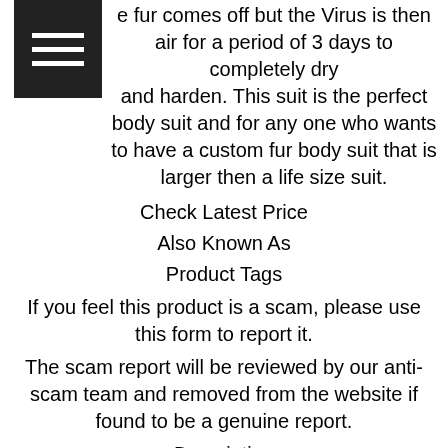e fur comes off but the Virus is then air for a period of 3 days to completely dry and harden. This suit is the perfect body suit and for any one who wants to have a custom fur body suit that is larger then a life size suit.
Check Latest Price
Also Known As
Product Tags
If you feel this product is a scam, please use this form to report it.
The scam report will be reviewed by our anti-scam team and removed from the website if found to be a genuine report.
Description
The Virus is a Original from my Custom Furry Birthday Suit and for the few that have seen it so far they have commented on the detail that goes into these products. The Virus is made from what is called a higher class of vinyl that is then placed on a 6mm pvc outer plastic casing and molded to fit the